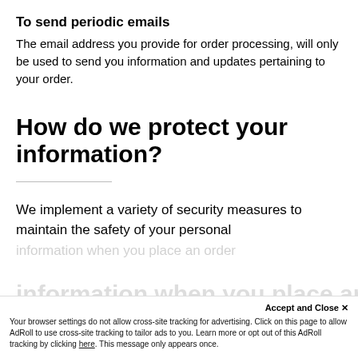To send periodic emails
The email address you provide for order processing, will only be used to send you information and updates pertaining to your order.
How do we protect your information?
We implement a variety of security measures to maintain the safety of your personal information when you place an order
Accept and Close ✕
Your browser settings do not allow cross-site tracking for advertising. Click on this page to allow AdRoll to use cross-site tracking to tailor ads to you. Learn more or opt out of this AdRoll tracking by clicking here. This message only appears once.